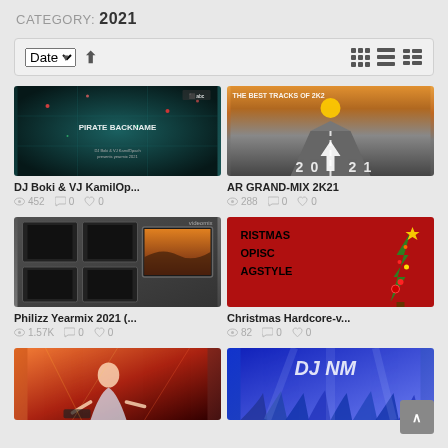CATEGORY: 2021
Date ▾ ↑ (view icons)
[Figure (photo): Dark teal thumbnail with particles, text PIRATE BACKNAME]
DJ Boki & VJ KamilOp...
452  0  0
[Figure (photo): Road at sunset with THE BEST TRACKS OF 2K21 text and 2021 painted on road]
AR GRAND-MIX 2K21
288  0  0
[Figure (photo): TV wall room with sunset image displayed]
Philizz Yearmix 2021 (...
1.57K  0  0
[Figure (photo): Red background with Christmas tree, text RISTMAS OPISC AGSTYLE]
Christmas Hardcore-v...
82  0  0
[Figure (photo): Woman DJ with colorful lighting]
[Figure (photo): DJ with blue crowd lighting and DJ NM text]